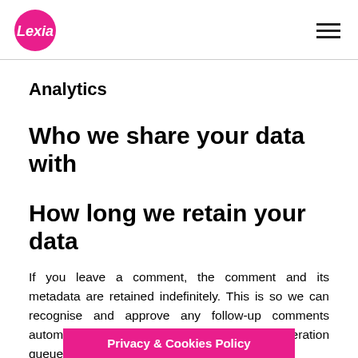Lexara logo and navigation
Analytics
Who we share your data with
How long we retain your data
If you leave a comment, the comment and its metadata are retained indefinitely. This is so we can recognise and approve any follow-up comments automatically instead of holding them in a moderation queue.
Privacy & Cookies Policy